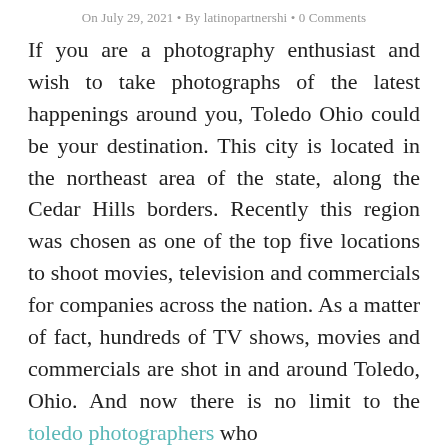On July 29, 2021 • By latinopartnershi • 0 Comments
If you are a photography enthusiast and wish to take photographs of the latest happenings around you, Toledo Ohio could be your destination. This city is located in the northeast area of the state, along the Cedar Hills borders. Recently this region was chosen as one of the top five locations to shoot movies, television and commercials for companies across the nation. As a matter of fact, hundreds of TV shows, movies and commercials are shot in and around Toledo, Ohio. And now there is no limit to the toledo photographers who